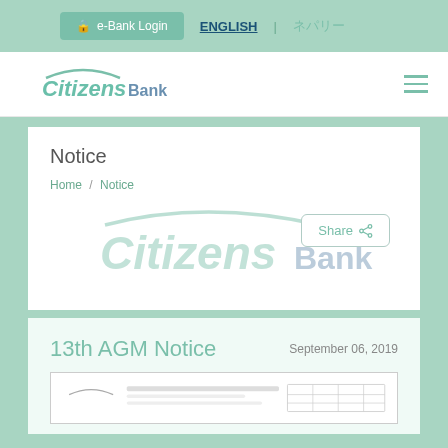e-Bank Login | ENGLISH | ????????????
[Figure (logo): Citizens Bank logo in header]
Notice
Home / Notice
[Figure (logo): Citizens Bank watermark logo with Share button]
13th AGM Notice
September 06, 2019
[Figure (screenshot): Document preview thumbnail of AGM notice]